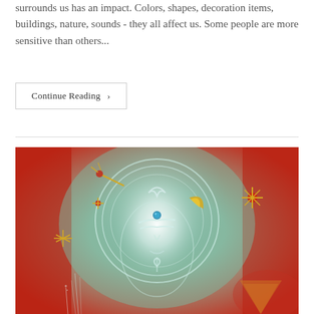surrounds us has an impact. Colors, shapes, decoration items, buildings, nature, sounds - they all affect us. Some people are more sensitive than others...
Continue Reading ›
[Figure (illustration): A spiritual painting of a Buddha-like face with a third eye (blue gem), surrounded by a glowing white aura, golden crescent moon, red and gold star symbols, and a red background with teal/green misty tones.]